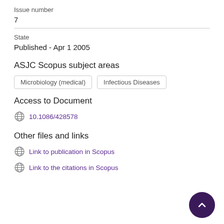Issue number
7
State
Published - Apr 1 2005
ASJC Scopus subject areas
Microbiology (medical)
Infectious Diseases
Access to Document
10.1086/428578
Other files and links
Link to publication in Scopus
Link to the citations in Scopus